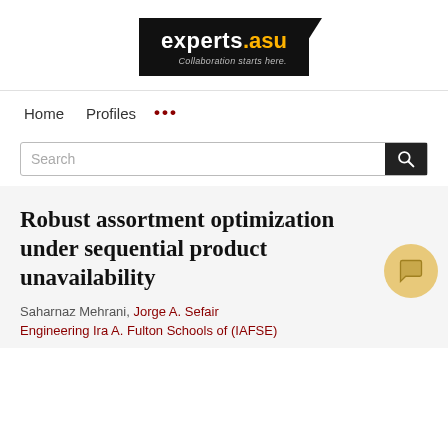[Figure (logo): experts.asu logo — black rectangle background with 'experts' in white bold text and '.asu' in yellow/amber bold text, tagline 'Collaboration starts here.' in gray italic below, with a dark notched corner tab at top right]
Home   Profiles   ...
Search
Robust assortment optimization under sequential product unavailability
Saharnaz Mehrani, Jorge A. Sefair
Engineering Ira A. Fulton Schools of (IAFSE)